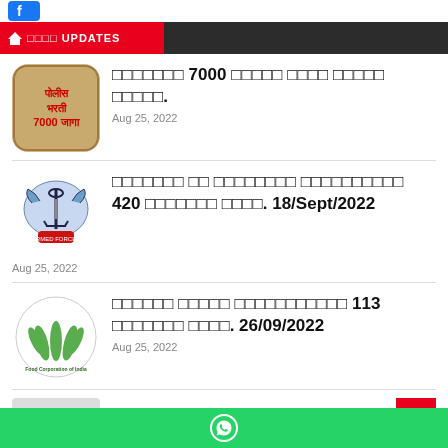🏠 □□□□ UPDATES
[Figure (logo): Police Bharti 7000 Jaga badge logo with text in Marathi]
□□□□□□□ 7000 □□□□□ □□□□ □□□□□ □□□□□.
Aug 25, 2022
[Figure (logo): Indian Armed Forces tri-service logo with anchor, sword and eagle]
□□□□□□□ □□ □□□□□□□□ □□□□□□□□□□ 420 □□□□□□□ □□□□. 18/Sept/2022
Aug 25, 2022
[Figure (logo): Food Corporation of India logo with wheat sheaves]
□□□□□□ □□□□□ □□□□□□□□□□□ 113 □□□□□□□ □□□□. 26/09/2022
Aug 25, 2022